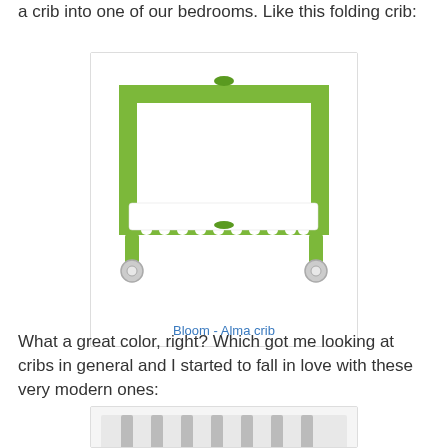a crib into one of our bedrooms. Like this folding crib:
[Figure (photo): A green folding baby crib (Bloom Alma crib) with white vertical slats and wheels, shown on a white background inside a bordered box.]
Bloom - Alma crib
What a great color, right? Which got me looking at cribs in general and I started to fall in love with these very modern ones:
[Figure (photo): Partial view of a white modern crib at the bottom of the page, cut off.]